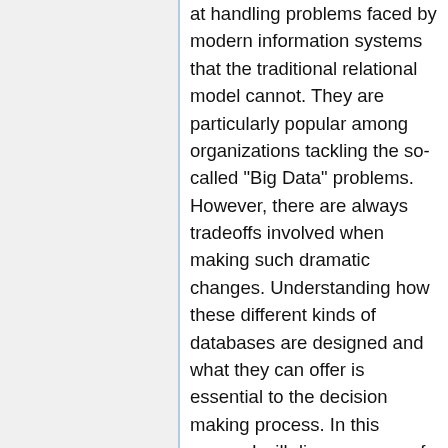at handling problems faced by modern information systems that the traditional relational model cannot. They are particularly popular among organizations tackling the so-called "Big Data" problems. However, there are always tradeoffs involved when making such dramatic changes. Understanding how these different kinds of databases are designed and what they can offer is essential to the decision making process. In this precon I will discuss some of the various types of new databases (key-value, columnar, document, graph) and walk through examples or exercises using some of their open source implementations like Riak, HBase, CouchDB, and Neo4j.
I plan on attending: